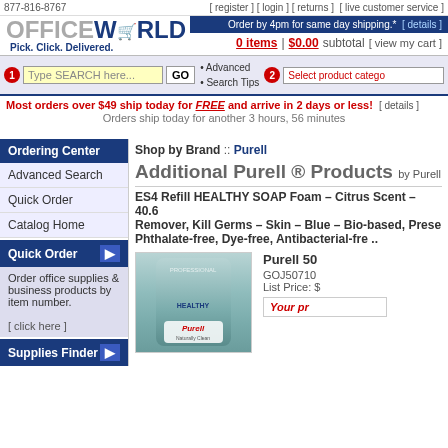877-816-8767  [ register ] [ login ] [ returns ]  [ live customer service ]
[Figure (logo): OfficeWorld logo with shopping cart graphic and tagline 'Pick. Click. Delivered.']
Order by 4pm for same day shipping.*  [ details ]
0 items | $0.00 subtotal  [ view my cart ]
Type SEARCH here...  GO  • Advanced  • Search Tips  Select product category
Most orders over $49 ship today for FREE and arrive in 2 days or less!  [ details ]
Orders ship today for another 3 hours, 56 minutes
Ordering Center
Advanced Search
Quick Order
Catalog Home
Quick Order
Order office supplies & business products by item number.
[ click here ]
Supplies Finder
Shop by Brand :: Purell
Additional Purell ® Products by Purell
ES4 Refill HEALTHY SOAP Foam – Citrus Scent – 40.6... Remover, Kill Germs – Skin – Blue – Bio-based, Prese... Phthalate-free, Dye-free, Antibacterial-fre ..
Purell 50... GOJ50710... List Price: $...
Your pr...